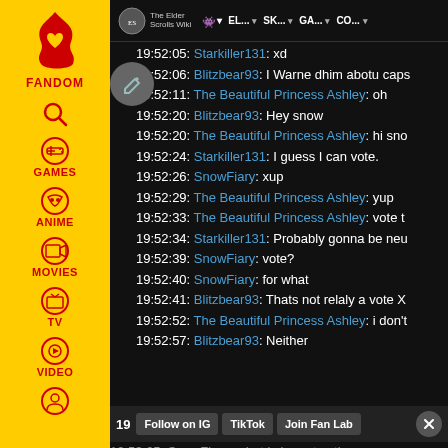[Figure (screenshot): Fandom website sidebar with navigation icons for Games, Anime, Movies, TV, Video, and user profile]
The Elder Scrolls Wiki | navigation bar with EL..., SK..., GA..., CO... dropdown menus
19:52:05: Starkiller131: xd
19:52:06: Blitzbear93: I Warne dhim abotu caps
19:52:11: The Beautiful Princess Ashley: oh
19:52:20: Blitzbear93: Hey snow
19:52:20: The Beautiful Princess Ashley: hi sno
19:52:24: Starkiller131: I guess I can vote.
19:52:26: SnowFiary: xup
19:52:29: The Beautiful Princess Ashley: yup
19:52:33: The Beautiful Princess Ashley: vote t
19:52:34: Starkiller131: Probably gonna be neu
19:52:39: SnowFiary: vote?
19:52:40: SnowFiary: for what
19:52:41: Blitzbear93: Thats not relaly a vote X
19:52:52: The Beautiful Princess Ashley: i don't
19:52:57: Blitzbear93: Neither
Follow on IG | TikTok | Join Fan Lab
19:53:05: SnowFiary: what is he not voting on